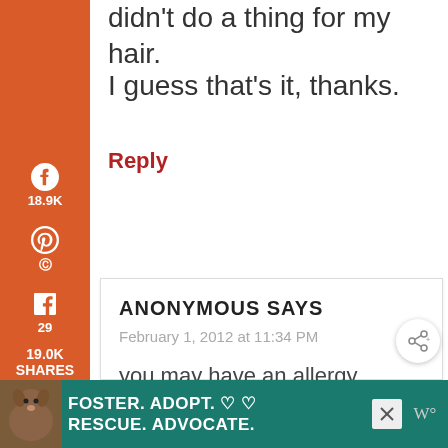didn't do a thing for my hair.
I guess that's it, thanks.
Reply
[Figure (screenshot): Orange social media share sidebar with Pinterest (18.9K), Facebook (29), Twitter, Yahoo, Email, and Print icons]
ANONYMOUS SAYS
February 1, 2012 at 11:34 PM
you may have an allergy
[Figure (screenshot): Advertisement banner: Foster. Adopt. Rescue. Advocate. with dog photo on teal background]
19.0K SHARES